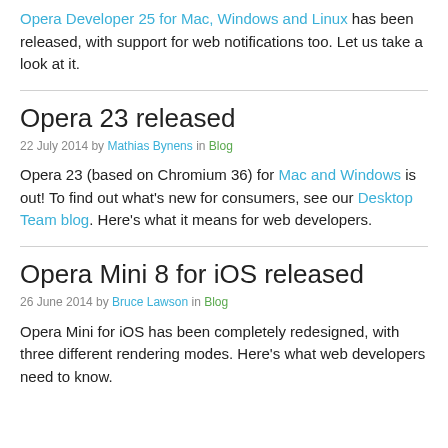Opera Developer 25 for Mac, Windows and Linux has been released, with support for web notifications too. Let us take a look at it.
Opera 23 released
22 July 2014 by Mathias Bynens in Blog
Opera 23 (based on Chromium 36) for Mac and Windows is out! To find out what's new for consumers, see our Desktop Team blog. Here's what it means for web developers.
Opera Mini 8 for iOS released
26 June 2014 by Bruce Lawson in Blog
Opera Mini for iOS has been completely redesigned, with three different rendering modes. Here's what web developers need to know.